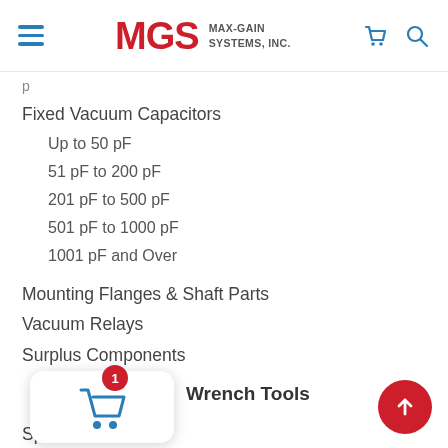MGS MAX-GAIN SYSTEMS, INC.
p
Fixed Vacuum Capacitors
Up to 50 pF
51 pF to 200 pF
201 pF to 500 pF
501 pF to 1000 pF
1001 pF and Over
Mounting Flanges & Shaft Parts
Vacuum Relays
Surplus Components
Wrench Tools
Spline Tools